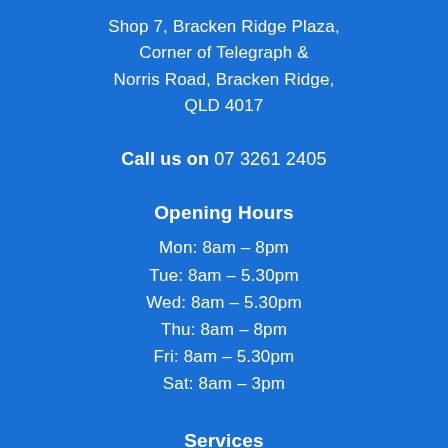Shop 7, Bracken Ridge Plaza, Corner of Telegraph & Norris Road, Bracken Ridge, QLD 4017
Call us on 07 3261 2405
Opening Hours
Mon: 8am – 8pm
Tue: 8am – 5.30pm
Wed: 8am – 5.30pm
Thu: 8am – 8pm
Fri: 8am – 5.30pm
Sat: 8am – 3pm
Services
Cosmetic Dentistry
Orthodontics